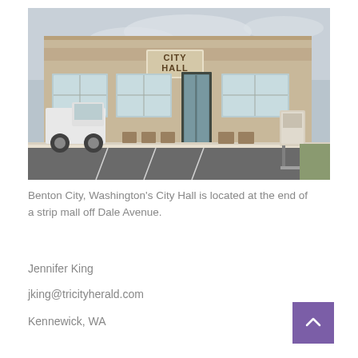[Figure (photo): Exterior photo of Benton City, Washington's City Hall building, located at the end of a strip mall. The building has a tan/beige stucco facade with a 'CITY HALL' sign above the entrance. There are several windows, a central glass door, a white truck parked on the left, parking lot in the foreground, and a kiosk on the right side.]
Benton City, Washington's City Hall is located at the end of a strip mall off Dale Avenue.
Jennifer King
jking@tricityherald.com
Kennewick, WA